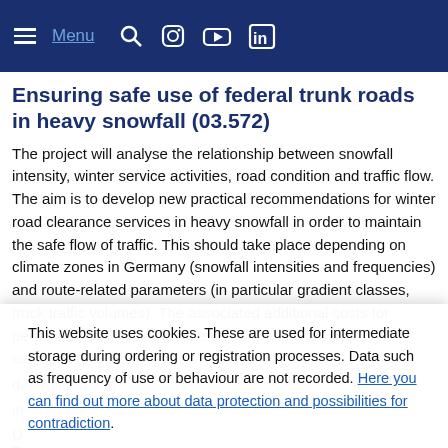Menu [navigation icons]
Ensuring safe use of federal trunk roads in heavy snowfall (03.572)
The project will analyse the relationship between snowfall intensity, winter service activities, road condition and traffic flow. The aim is to develop new practical recommendations for winter road clearance services in heavy snowfall in order to maintain the safe flow of traffic. This should take place depending on climate zones in Germany (snowfall intensities and frequencies) and route-related parameters (in particular gradient classes, truck traffic volumes). The associated additional costs for personnel, vehicles, equipment and gritting materials, for example, are to be...
This website uses cookies. These are used for intermediate storage during ordering or registration processes. Data such as frequency of use or behaviour are not recorded. Here you can find out more about data protection and possibilities for contradiction.